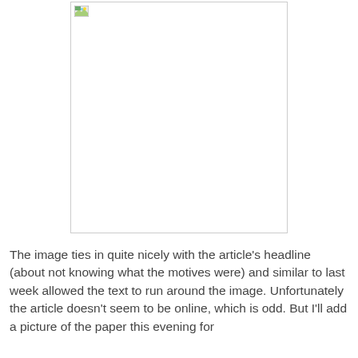[Figure (photo): A large white/blank image placeholder with a broken image icon in the top-left corner, bordered by a thin gray rectangle.]
The image ties in quite nicely with the article's headline (about not knowing what the motives were) and similar to last week allowed the text to run around the image. Unfortunately the article doesn't seem to be online, which is odd. But I'll add a picture of the paper this evening for